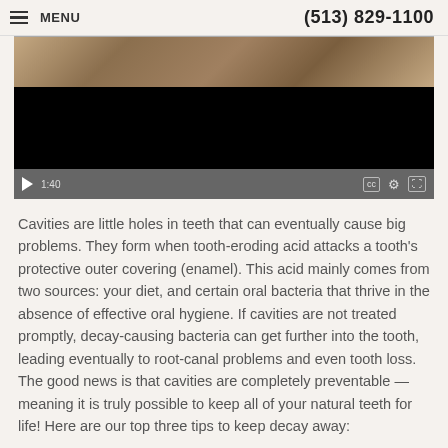MENU  (513) 829-1100
[Figure (screenshot): Embedded video player showing a partially visible dental-themed thumbnail image at top (wooden/brown tones), a black video area, and a grey control bar at bottom showing timestamp 1:40, a play button, CC, settings gear, and fullscreen icons.]
Cavities are little holes in teeth that can eventually cause big problems. They form when tooth-eroding acid attacks a tooth's protective outer covering (enamel). This acid mainly comes from two sources: your diet, and certain oral bacteria that thrive in the absence of effective oral hygiene. If cavities are not treated promptly, decay-causing bacteria can get further into the tooth, leading eventually to root-canal problems and even tooth loss. The good news is that cavities are completely preventable — meaning it is truly possible to keep all of your natural teeth for life! Here are our top three tips to keep decay away:
Brush & Floss Every Day